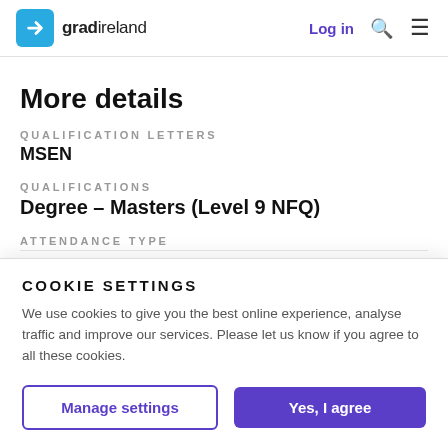gradireland | Log in
More details
QUALIFICATION LETTERS
MSEN
QUALIFICATIONS
Degree – Masters (Level 9 NFQ)
ATTENDANCE TYPE
Part time
COOKIE SETTINGS
We use cookies to give you the best online experience, analyse traffic and improve our services. Please let us know if you agree to all these cookies.
Manage settings
Yes, I agree